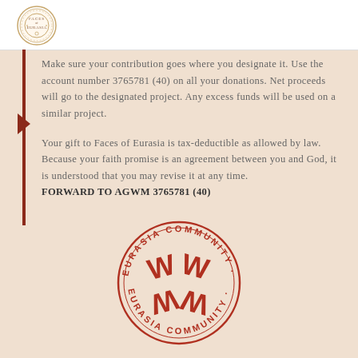[Figure (logo): Faces of Eurasia circular logo with ornamental border and decorative text]
Make sure your contribution goes where you designate it. Use the account number 3765781 (40) on all your donations. Net proceeds will go to the designated project. Any excess funds will be used on a similar project.
Your gift to Faces of Eurasia is tax-deductible as allowed by law. Because your faith promise is an agreement between you and God, it is understood that you may revise it at any time. FORWARD TO AGWM 3765781 (40)
[Figure (logo): Eurasia Community circular stamp seal with stylized W/M letters in the center and text around the border reading EURASIA COMMUNITY]